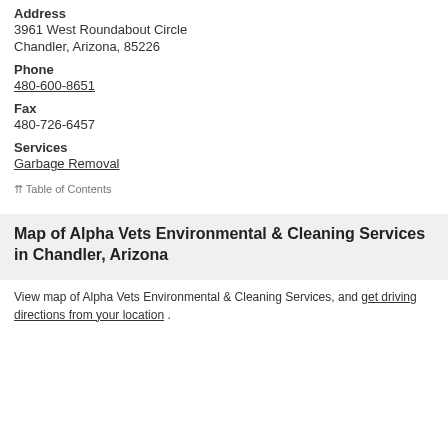Address
3961 West Roundabout Circle
Chandler, Arizona, 85226
Phone
480-600-8651
Fax
480-726-6457
Services
Garbage Removal
⇈ Table of Contents
Map of Alpha Vets Environmental & Cleaning Services in Chandler, Arizona
View map of Alpha Vets Environmental & Cleaning Services, and get driving directions from your location .